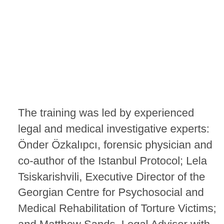The training was led by experienced legal and medical investigative experts: Önder Özkalıpcı, forensic physician and co-author of the Istanbul Protocol; Lela Tsiskarishvili, Executive Director of the Georgian Centre for Psychosocial and Medical Rehabilitation of Torture Victims; and Matthew Sands, Legal Adviser with the Association for the Prevention